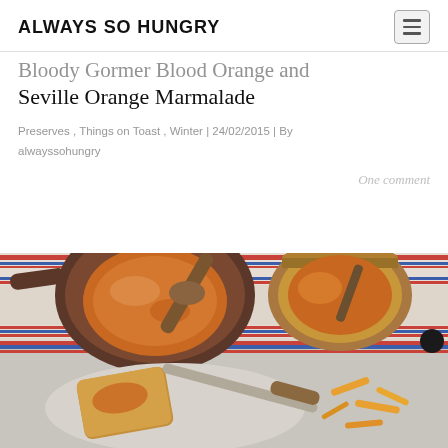ALWAYS SO HUNGRY
Bloody Gormer Blood Orange and Seville Orange Marmalade
Preserves , Things on Toast , Winter | 24/02/2015 | By alwayssohungry
One comment
[Figure (photo): Overhead photo showing a dark pan with wooden spoon and orange marmalade, a jar of marmalade, and a lower section showing toast with marmalade and orange peel strips on a striped cloth background.]